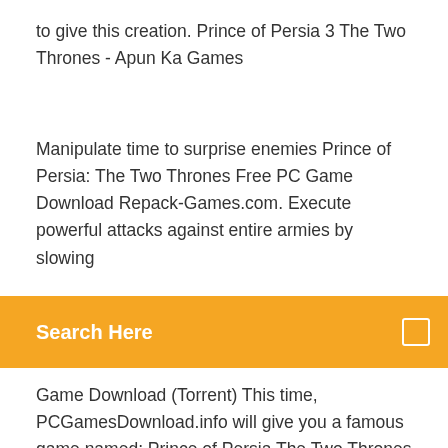to give this creation. Prince of Persia 3 The Two Thrones - Apun Ka Games
Manipulate time to surprise enemies Prince of Persia: The Two Thrones Free PC Game Download Repack-Games.com. Execute powerful attacks against entire armies by slowing
[Figure (screenshot): Orange search bar with text 'Search Here' and a small square icon on the right]
Game Download (Torrent) This time, PCGamesDownload.info will give you a famous game named: Prince of Persia The Two Thrones .The most famous game of 2005 and it is still playing as you can see. Download Prince of Persia 3: The Two Thrones - Torrent Mar 31, 2019 · Prince of Persia 3: The Two Thrones is a Action Adventure video game developed by Ubisoft Montreal and Ubisoft Casablanca and published by Ubisoft. The game was released for Microsoft Windows on December 01, 2005. We provide you 100% working game torrent setup, full version, PC game & free download for everyone! System Requirement